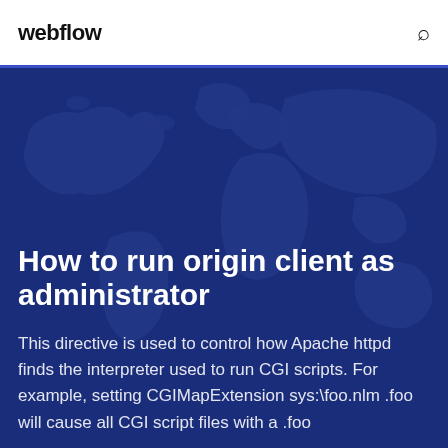webflow
[Figure (illustration): World map silhouette on dark blue background used as hero image backdrop]
How to run origin client as administrator
This directive is used to control how Apache httpd finds the interpreter used to run CGI scripts. For example, setting CGIMapExtension sys:\foo.nlm .foo will cause all CGI script files with a .foo